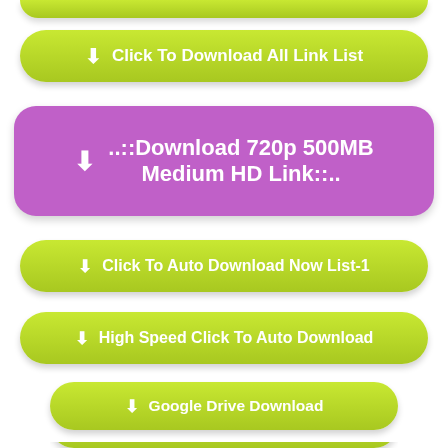[Figure (screenshot): Green rounded button partially visible at top: (cropped)]
Click To Download All Link List
..::Download 720p 500MB Medium HD Link::..
Click To Auto Download Now List-1
High Speed Click To Auto Download
Google Drive Download
Google Drive All File Link
[Figure (screenshot): Green rounded button partially visible at bottom: (cropped)]